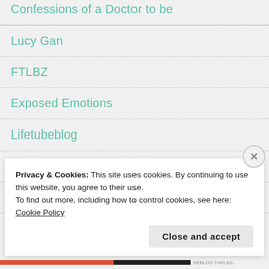Confessions of a Doctor to be
Lucy Gan
FTLBZ
Exposed Emotions
Lifetubeblog
Benyapoesy
Marcus Ampe's Space
Privacy & Cookies: This site uses cookies. By continuing to use this website, you agree to their use.
To find out more, including how to control cookies, see here: Cookie Policy
Close and accept